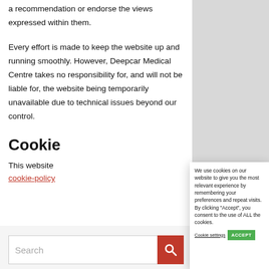a recommendation or endorse the views expressed within them.
Every effort is made to keep the website up and running smoothly. However, Deepcar Medical Centre takes no responsibility for, and will not be liable for, the website being temporarily unavailable due to technical issues beyond our control.
Cookie
This website
cookie-policy
[Figure (screenshot): Cookie consent popup overlay with text: 'We use cookies on our website to give you the most relevant experience by remembering your preferences and repeat visits. By clicking "Accept", you consent to the use of ALL the cookies.' with Cookie settings link and green ACCEPT button.]